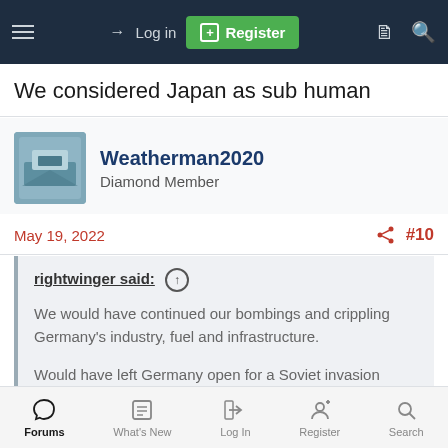Log in | Register
We considered Japan as sub human
Weatherman2020
Diamond Member
May 19, 2022   #10
rightwinger said:
We would have continued our bombings and crippling Germany's industry, fuel and infrastructure.

Would have left Germany open for a Soviet invasion
Forums | What's New | Log In | Register | Search